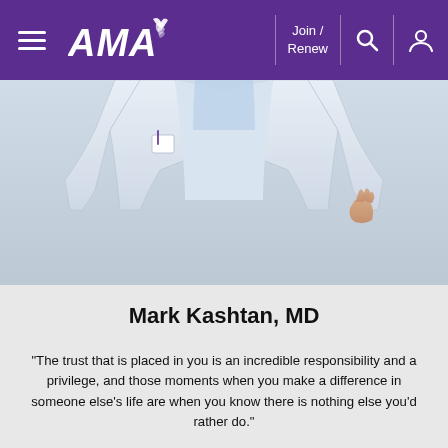[Figure (screenshot): AMA website navigation header bar in purple with hamburger menu icon, AMA logo with stylized laurel, Join/Renew link, search icon, and user account icon]
[Figure (photo): Partial torso photo of a person in a light blue/white medical coat or jacket, upper body only, no face visible]
Mark Kashtan, MD
"The trust that is placed in you is an incredible responsibility and a privilege, and those moments when you make a difference in someone else’s life are when you know there is nothing else you’d rather do."